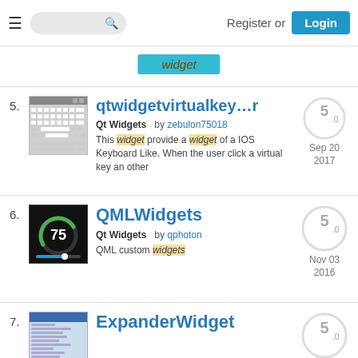Register or Login
widget
5. qtwidgetvirtualkeyboard - Qt Widgets by zebulon75018 - Sep 20 2017 - Rating: 5.0 - This widget provide a widget of a IOS Keyboard Like. When the user click a virtual key an other
6. QMLWidgets - Qt Widgets by qphoton - Nov 03 2016 - Rating: 5.0 - QML custom widgets
7. ExpanderWidget - Rating: 5.0